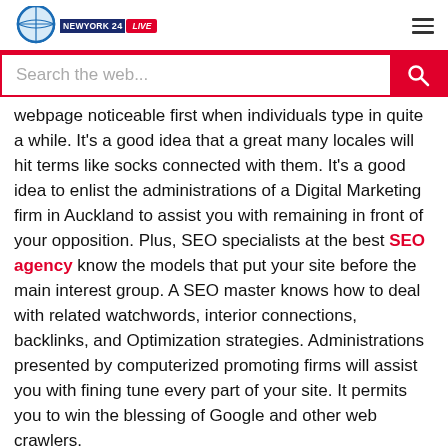NewYork 24 LIVE — hamburger menu
Search the web...
webpage noticeable first when individuals type in quite a while. It's a good idea that a great many locales will hit terms like socks connected with them. It's a good idea to enlist the administrations of a Digital Marketing firm in Auckland to assist you with remaining in front of your opposition. Plus, SEO specialists at the best SEO agency know the models that put your site before the main interest group. A SEO master knows how to deal with related watchwords, interior connections, backlinks, and Optimization strategies. Administrations presented by computerized promoting firms will assist you with fining tune every part of your site. It permits you to win the blessing of Google and other web crawlers.
SEM